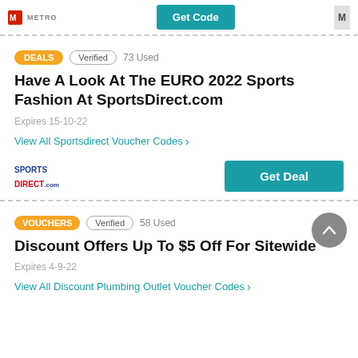[Figure (logo): Metro logo with text and Get Code button]
DEALS   Verified   73 Used
Have A Look At The EURO 2022 Sports Fashion At SportsDirect.com
Expires 15-10-22
View All Sportsdirect Voucher Codes >
Get Deal
VOUCHERS   Verified   58 Used
Discount Offers Up To $5 Off For Sitewide
Expires 4-9-22
View All Discount Plumbing Outlet Voucher Codes >